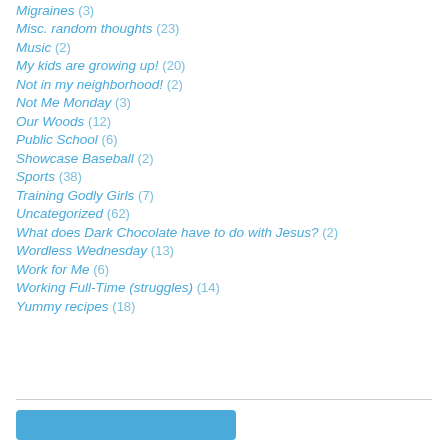Migraines (3)
Misc. random thoughts (23)
Music (2)
My kids are growing up! (20)
Not in my neighborhood! (2)
Not Me Monday (3)
Our Woods (12)
Public School (6)
Showcase Baseball (2)
Sports (38)
Training Godly Girls (7)
Uncategorized (62)
What does Dark Chocolate have to do with Jesus? (2)
Wordless Wednesday (13)
Work for Me (6)
Working Full-Time (struggles) (14)
Yummy recipes (18)